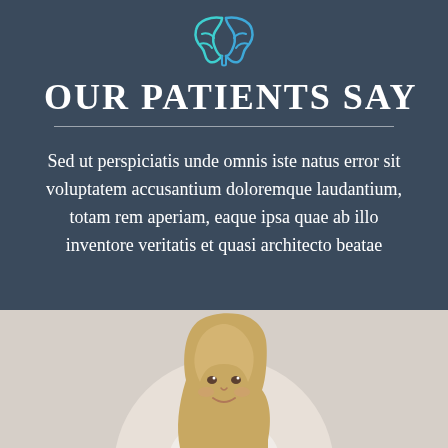[Figure (illustration): Brain icon outline in teal/cyan color on dark blue-gray background]
OUR PATIENTS SAY
Sed ut perspiciatis unde omnis iste natus error sit voluptatem accusantium doloremque laudantium, totam rem aperiam, eaque ipsa quae ab illo inventore veritatis et quasi architecto beatae
[Figure (photo): Smiling young blonde girl on light background, photo cropped showing head and partial upper body]